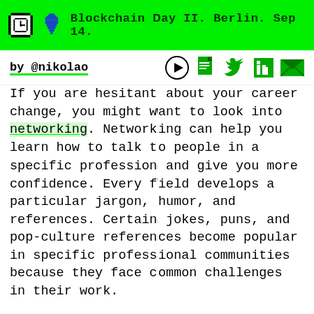Blockchain Day II. Berlin. Sep 14.
by @nikolao
If you are hesitant about your career change, you might want to look into networking. Networking can help you learn how to talk to people in a specific profession and give you more confidence. Every field develops a particular jargon, humor, and references. Certain jokes, puns, and pop-culture references become popular in specific professional communities because they face common challenges in their work.
For example, I'm a data scientist working in the healthcare context. One thing we often complain about is how long it takes to get data access. The data is often sensitive, so there is usually an approval